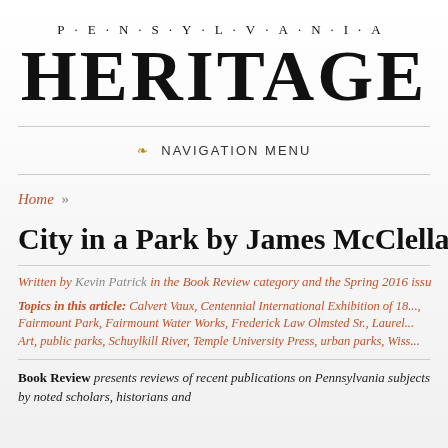PENNSYLVANIA HERITAGE
NAVIGATION MENU
Home »
City in a Park by James McClellan
Written by Kevin Patrick in the Book Review category and the Spring 2016 issue
Topics in this article: Calvert Vaux, Centennial International Exhibition of 18..., Fairmount Park, Fairmount Water Works, Frederick Law Olmsted Sr., Laurel..., Art, public parks, Schuylkill River, Temple University Press, urban parks, Wiss...
Book Review presents reviews of recent publications on Pennsylvania subjects by noted scholars, historians and